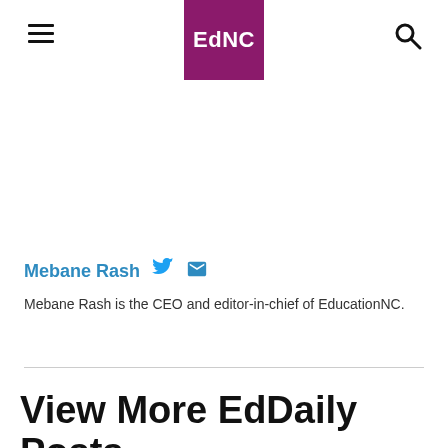EdNC
Mebane Rash
Mebane Rash is the CEO and editor-in-chief of EducationNC.
View More EdDaily Posts